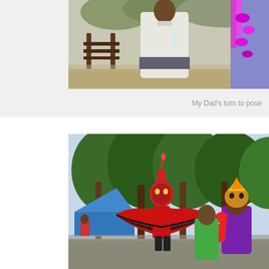[Figure (photo): Outdoor photo of a person in a white shirt near a bench, with colorful clothing visible on the right edge, taken at an outdoor event]
My Dad's turn to pose
[Figure (photo): Outdoor festival photo showing performers in elaborate colorful costumes including a prominent red and black devil/vejigante costume and a purple costume with a Puerto Rican flag, with trees in the background]